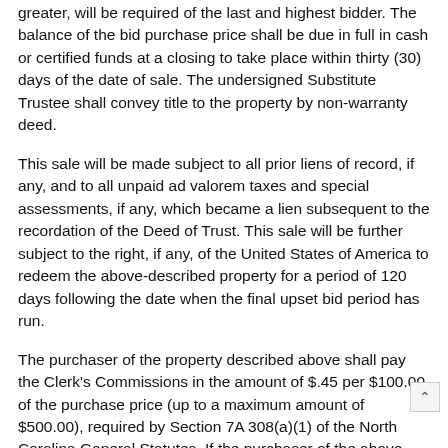greater, will be required of the last and highest bidder. The balance of the bid purchase price shall be due in full in cash or certified funds at a closing to take place within thirty (30) days of the date of sale. The undersigned Substitute Trustee shall convey title to the property by non-warranty deed.
This sale will be made subject to all prior liens of record, if any, and to all unpaid ad valorem taxes and special assessments, if any, which became a lien subsequent to the recordation of the Deed of Trust. This sale will be further subject to the right, if any, of the United States of America to redeem the above-described property for a period of 120 days following the date when the final upset bid period has run.
The purchaser of the property described above shall pay the Clerk's Commissions in the amount of $.45 per $100.00 of the purchase price (up to a maximum amount of $500.00), required by Section 7A 308(a)(1) of the North Carolina General Statutes. If the purchaser of the above described property is someone other than the Beneficiary under the Deed of Trust, the purchaser shall also pay, to the extent applicable, the land transfer tax in the amount of one percent (1%) of the purchase price.